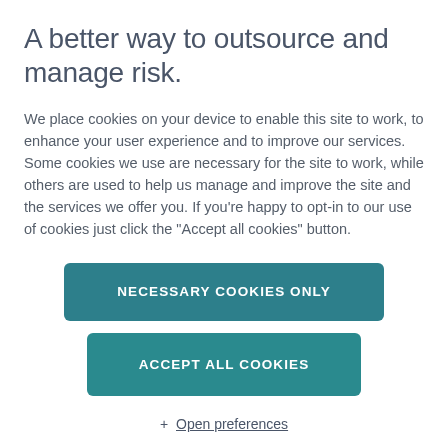A better way to outsource and manage risk.
We place cookies on your device to enable this site to work, to enhance your user experience and to improve our services. Some cookies we use are necessary for the site to work, while others are used to help us manage and improve the site and the services we offer you. If you're happy to opt-in to our use of cookies just click the "Accept all cookies" button.
NECESSARY COOKIES ONLY
ACCEPT ALL COOKIES
+ Open preferences